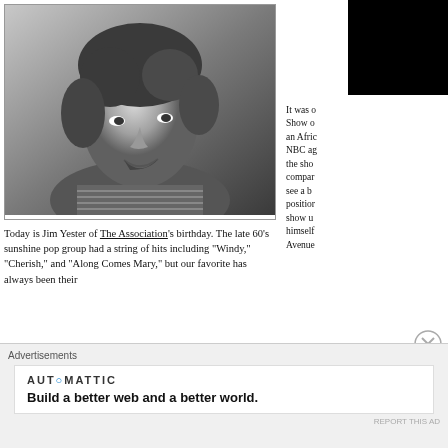[Figure (photo): Black and white photograph of Jim Yester of The Association, a young man with curly dark hair wearing a striped shirt, looking upward and to the side]
Today is Jim Yester of The Association's birthday. The late 60's sunshine pop group had a string of hits including “Windy,” “Cherish,” and “Along Comes Mary,” but our favorite has always been their
It was o Show o an Afric NBC ag the sho compa see a b positio show u himsel Avenu
Advertisements
AUT◌MATTIC
Build a better web and a better world.